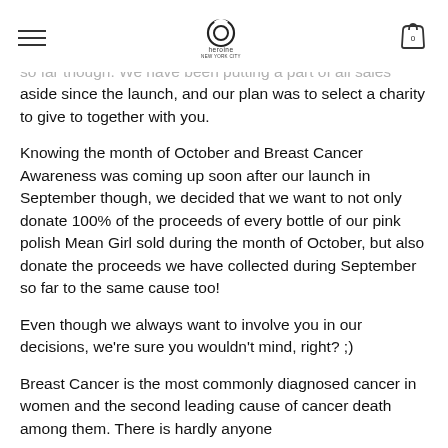[hamburger menu] [heroine NYC logo] [cart: 0]
his does not mean that you haven't been helping us collect donations by purchasing any of our products so far though. We have been putting a part of all sales aside since the launch, and our plan was to select a charity to give to together with you.
Knowing the month of October and Breast Cancer Awareness was coming up soon after our launch in September though, we decided that we want to not only donate 100% of the proceeds of every bottle of our pink polish Mean Girl sold during the month of October, but also donate the proceeds we have collected during September so far to the same cause too!
Even though we always want to involve you in our decisions, we're sure you wouldn't mind, right? ;)
Breast Cancer is the most commonly diagnosed cancer in women and the second leading cause of cancer death among them. There is hardly anyone